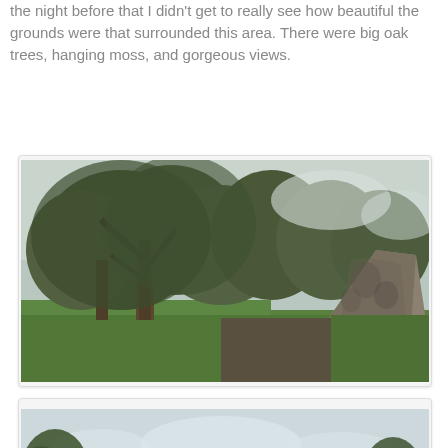the night before that I didn't get to really see how beautiful the grounds were that surrounded this area.  There were big oak trees, hanging moss, and gorgeous views.
[Figure (photo): Outdoor photo showing large oak trees with hanging moss on a grassy area, with a large rock or stone structure visible on the right side. Overcast sky.]
[Figure (photo): Outdoor photo showing a large house or estate building visible through and beneath oak trees with hanging moss, green lawn in foreground, overcast sky.]